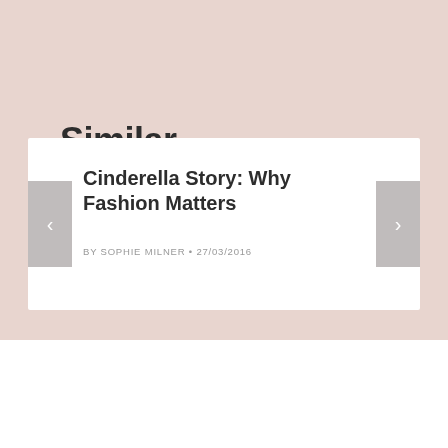Similar Posts
Cinderella Story: Why Fashion Matters
BY SOPHIE MILNER • 27/03/2016